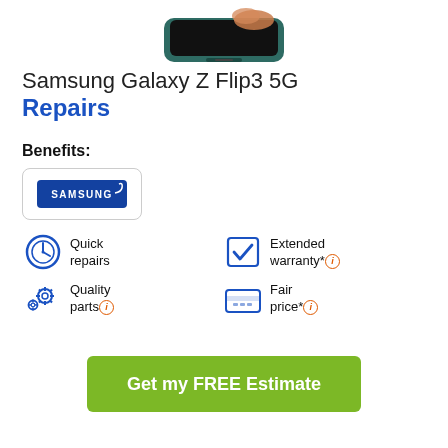[Figure (photo): Samsung Galaxy Z Flip3 5G smartphone shown from front, partially open, in dark teal/green color against white background]
Samsung Galaxy Z Flip3 5G Repairs
Benefits:
[Figure (logo): Samsung logo — white text on blue rounded rectangle with swoosh graphic]
Quick repairs
Extended warranty*
Quality parts
Fair price*
Get my FREE Estimate